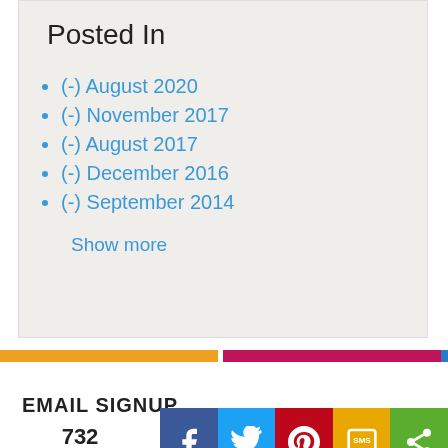Posted In
(-) August 2020
(-) November 2017
(-) August 2017
(-) December 2016
(-) September 2014
Show more
EMAIL SIGNUP
732 Shares